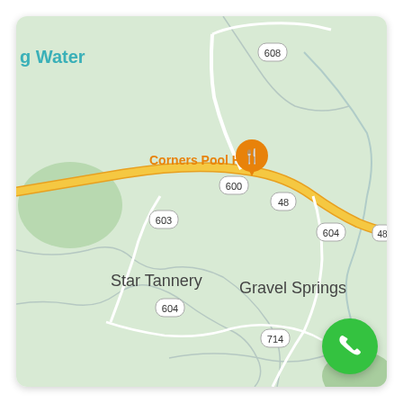[Figure (map): Google Maps view showing Corners Pool Hall location marker (orange restaurant pin) at the intersection of routes 48, 600, 603, and 604, with place labels for Star Tannery and Gravel Springs, route markers 608, 600, 603, 604, 48, 714, and a 'g Water' partial label in teal at top-left. A yellow highway (Rt 48) runs diagonally from upper-left to right. The map background is light green with white road lines and a green vegetation patch at left. A green phone call button appears in the bottom-right corner.]